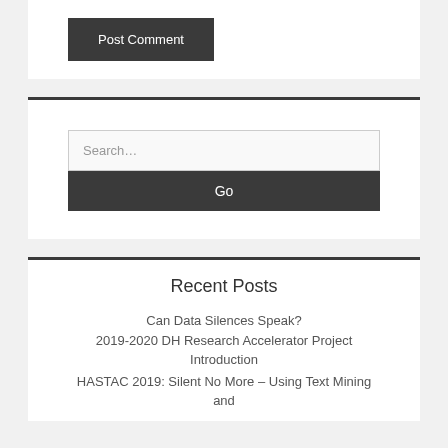Post Comment
Search...
Go
Recent Posts
Can Data Silences Speak? 2019-2020 DH Research Accelerator Project Introduction
HASTAC 2019: Silent No More – Using Text Mining and